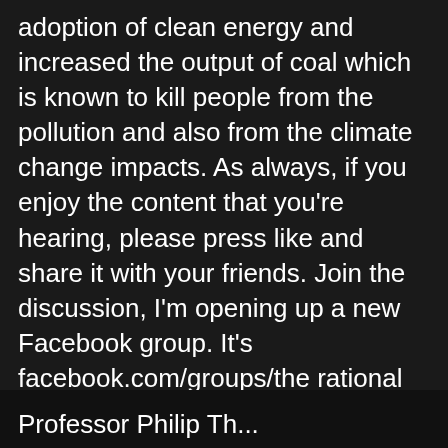adoption of clean energy and increased the output of coal which is known to kill people from the pollution and also from the climate change impacts. As always, if you enjoy the content that you're hearing, please press like and share it with your friends. Join the discussion, I'm opening up a new Facebook group. It's facebook.com/groups/the rational view that'll be opening up on Pi Day 2021. I hope to see you there.
Professor Philip Th...